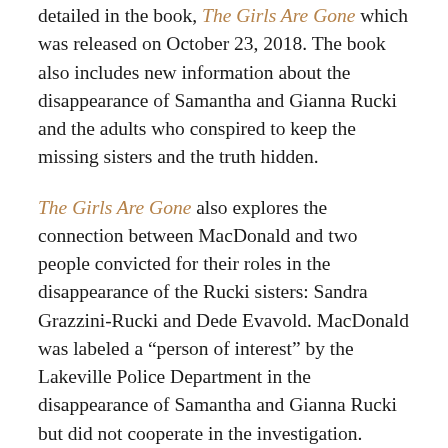detailed in the book, The Girls Are Gone which was released on October 23, 2018. The book also includes new information about the disappearance of Samantha and Gianna Rucki and the adults who conspired to keep the missing sisters and the truth hidden.
The Girls Are Gone also explores the connection between MacDonald and two people convicted for their roles in the disappearance of the Rucki sisters: Sandra Grazzini-Rucki and Dede Evavold. MacDonald was labeled a “person of interest” by the Lakeville Police Department in the disappearance of Samantha and Gianna Rucki but did not cooperate in the investigation.
Since being released in October 2018, The Girls Are Gone has been a commercial and critical success. In April, Brodkorb and Allison Mann